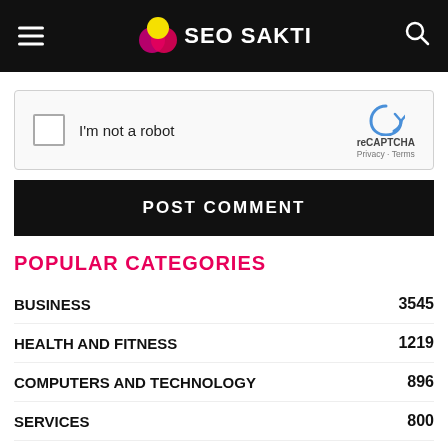SEO SAKTI
[Figure (screenshot): reCAPTCHA widget with checkbox labeled 'I'm not a robot' and reCAPTCHA logo with Privacy and Terms links]
POST COMMENT
POPULAR CATEGORIES
BUSINESS 3545
HEALTH AND FITNESS 1219
COMPUTERS AND TECHNOLOGY 896
SERVICES 800
EDUCATION 783